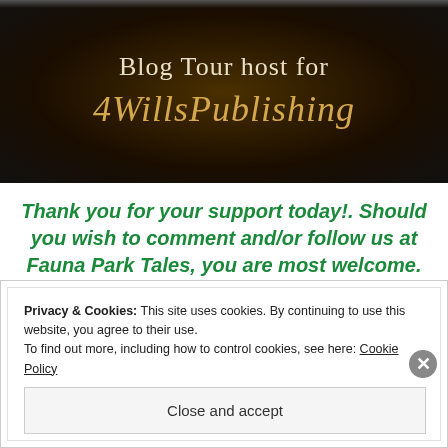[Figure (illustration): Blog Tour host banner with dark brown/black radial gradient background. Text reads 'Blog Tour host for' in light serif font, and '4WillsPublishing' in gold italic script font.]
Thank you for your support today!. Should you wish to comment and/or follow us at Fauna Park Tales, you are most welcome. Best wishes for the week and remember to stay safe!
Privacy & Cookies: This site uses cookies. By continuing to use this website, you agree to their use.
To find out more, including how to control cookies, see here: Cookie Policy
Close and accept